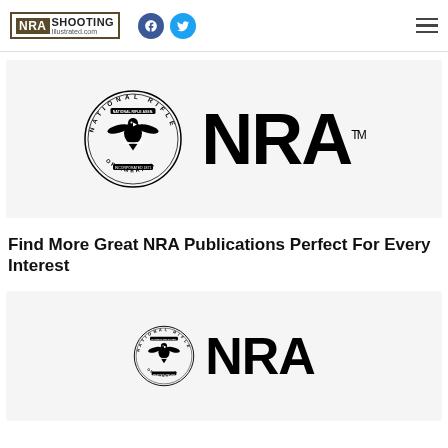NRA Shooting Illustrated .com
[Figure (logo): NRA National Rifle Association of America seal and NRA text logo, large version]
Find More Great NRA Publications Perfect For Every Interest
[Figure (logo): NRA National Rifle Association of America seal and NRA text logo, smaller version (partially cropped)]